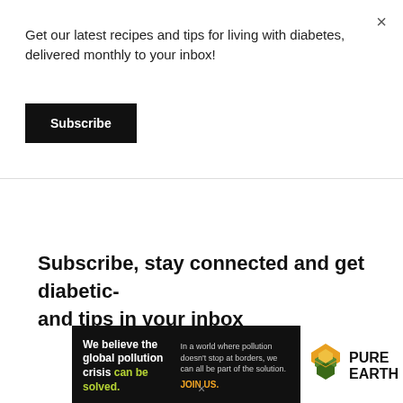×
Get our latest recipes and tips for living with diabetes, delivered monthly to your inbox!
Subscribe
Subscribe, stay connected and get diabetic- and tips in your inbox
[Figure (infographic): Pure Earth advertisement banner: black background with text 'We believe the global pollution crisis can be solved.' with green text for 'can be solved.' and smaller white text 'In a world where pollution doesn't stop at borders, we can all be part of the solution.' and yellow 'JOIN US.' text. Right side white background with Pure Earth logo (diamond/leaf shapes in gold/green) and 'PURE EARTH' text in bold black.]
×